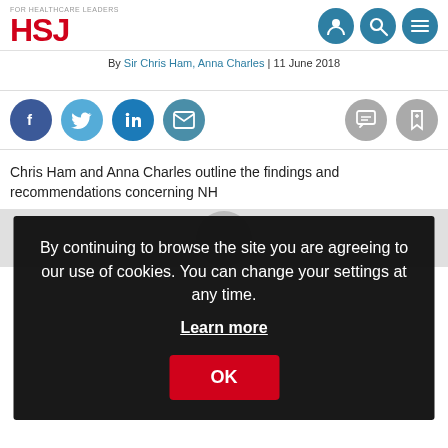HSJ | FOR HEALTHCARE LEADERS
By Sir Chris Ham, Anna Charles | 11 June 2018
[Figure (screenshot): Social share icons: Facebook, Twitter, LinkedIn, Email, Comments, Bookmark]
Chris Ham and Anna Charles outline the findings and recommendations... NHS
By continuing to browse the site you are agreeing to our use of cookies. You can change your settings at any time.
Learn more
OK